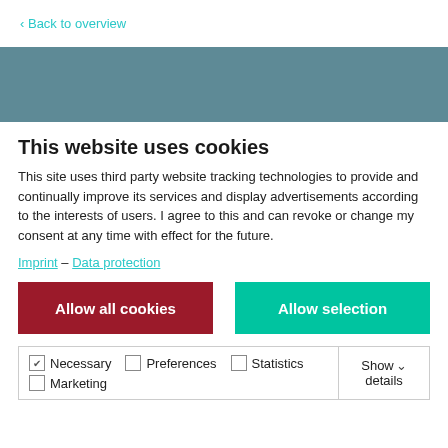< Back to overview
[Figure (other): Teal/blue-grey banner image strip]
This website uses cookies
This site uses third party website tracking technologies to provide and continually improve its services and display advertisements according to the interests of users. I agree to this and can revoke or change my consent at any time with effect for the future.
Imprint – Data protection
Allow all cookies | Allow selection
Necessary  Preferences  Statistics  Show details  Marketing